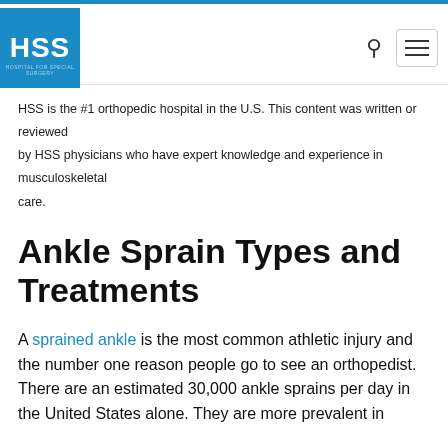HSS
HSS is the #1 orthopedic hospital in the U.S. This content was written or reviewed by HSS physicians who have expert knowledge and experience in musculoskeletal care.
Ankle Sprain Types and Treatments
A sprained ankle is the most common athletic injury and the number one reason people go to see an orthopedist. There are an estimated 30,000 ankle sprains per day in the United States alone. They are more prevalent in